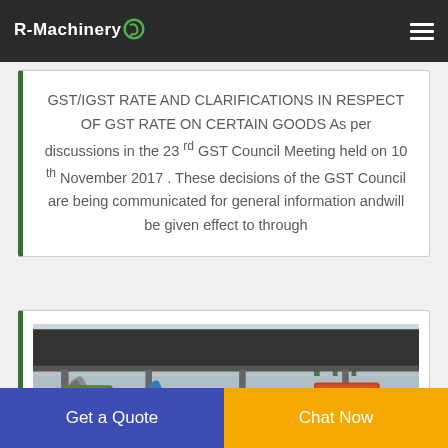R-Machinery
GST/IGST RATE AND CLARIFICATIONS IN RESPECT OF GST RATE ON CERTAIN GOODS As per discussions in the 23 rd GST Council Meeting held on 10 th November 2017 . These decisions of the GST Council are being communicated for general information andwill be given effect to through
[Figure (photo): Photograph of industrial recycling machinery under a large covered shelter/warehouse area, showing conveyor belts, sorting equipment, and outdoor yard with trees in background]
Get a Quote
Chat Now